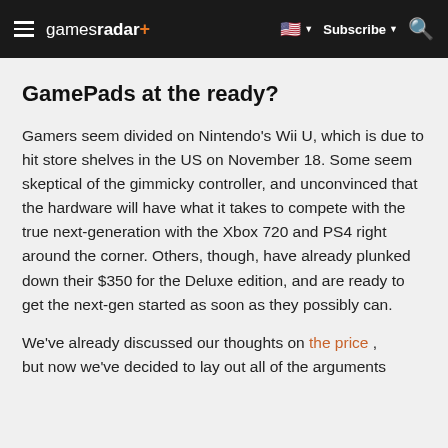gamesradar+ | Subscribe | Search
GamePads at the ready?
Gamers seem divided on Nintendo's Wii U, which is due to hit store shelves in the US on November 18. Some seem skeptical of the gimmicky controller, and unconvinced that the hardware will have what it takes to compete with the true next-generation with the Xbox 720 and PS4 right around the corner. Others, though, have already plunked down their $350 for the Deluxe edition, and are ready to get the next-gen started as soon as they possibly can.
We've already discussed our thoughts on the price , but now we've decided to lay out all of the arguments